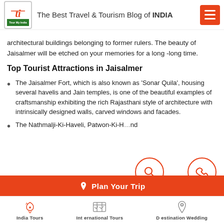The Best Travel & Tourism Blog of INDIA
architectural buildings belonging to former rulers. The beauty of Jaisalmer will be etched on your memories for a long -long time.
Top Tourist Attractions in Jaisalmer
The Jaisalmer Fort, which is also known as ‘Sonar Quila’, housing several havelis and Jain temples, is one of the beautiful examples of craftsmanship exhibiting the rich Rajasthani style of architecture with intrinsically designed walls, carved windows and facades.
The Nathmalji-Ki-Haveli, Patwon-Ki-H… nd
India Tours | International Tours | Destination Wedding